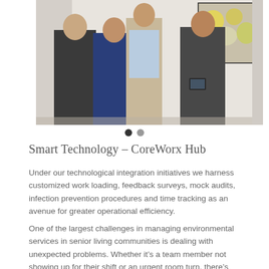[Figure (photo): Four men standing together in a professional setting, one holding a tablet. Abstract artwork visible in the background on a white wall.]
Smart Technology – CoreWorx Hub
Under our technological integration initiatives we harness customized work loading, feedback surveys, mock audits, infection prevention procedures and time tracking as an avenue for greater operational efficiency.
One of the largest challenges in managing environmental services in senior living communities is dealing with unexpected problems. Whether it's a team member not showing up for their shift or an urgent room turn, there's always a surprise that throws a wrench into any well-planned schedule. Coreworks